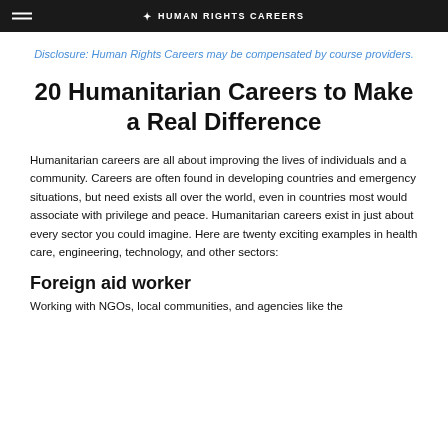HUMAN RIGHTS CAREERS
Disclosure: Human Rights Careers may be compensated by course providers.
20 Humanitarian Careers to Make a Real Difference
Humanitarian careers are all about improving the lives of individuals and a community. Careers are often found in developing countries and emergency situations, but need exists all over the world, even in countries most would associate with privilege and peace. Humanitarian careers exist in just about every sector you could imagine. Here are twenty exciting examples in health care, engineering, technology, and other sectors:
Foreign aid worker
Working with NGOs, local communities, and agencies like the